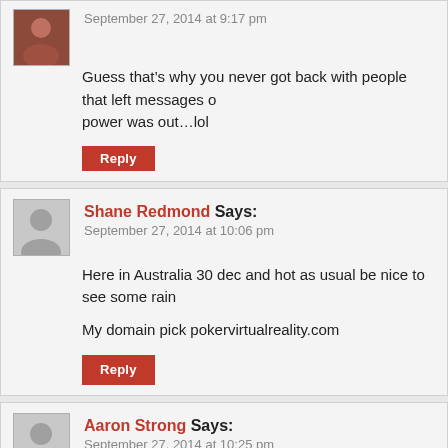Guess that's why you never got back with people that left messages on… power was out…lol
Reply
Shane Redmond Says: September 27, 2014 at 10:06 pm
Here in Australia 30 dec and hot as usual be nice to see some rain

My domain pick pokervirtualreality.com
Reply
Aaron Strong Says: September 27, 2014 at 10:25 pm
Opened for Elvis, The King?…That is bad ass!!!….Long live Rock n R… live the King!!!…….(no disrespect to the Domain King, cause he is ba…

Saturday Night Domain Special – PowderedAlcohol.net/org
Reply